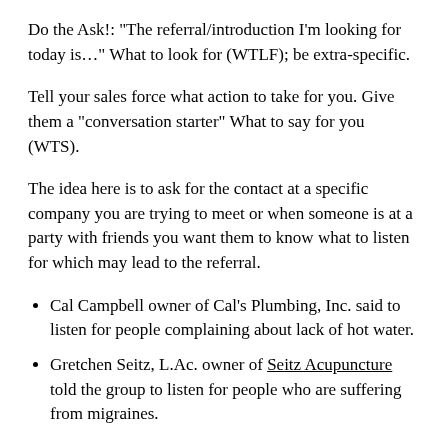Do the Ask!: "The referral/introduction I'm looking for today is…" What to look for (WTLF); be extra-specific.
Tell your sales force what action to take for you. Give them a "conversation starter" What to say for you (WTS).
The idea here is to ask for the contact at a specific company you are trying to meet or when someone is at a party with friends you want them to know what to listen for which may lead to the referral.
Cal Campbell owner of Cal's Plumbing, Inc. said to listen for people complaining about lack of hot water.
Gretchen Seitz, L.Ac. owner of Seitz Acupuncture told the group to listen for people who are suffering from migraines.